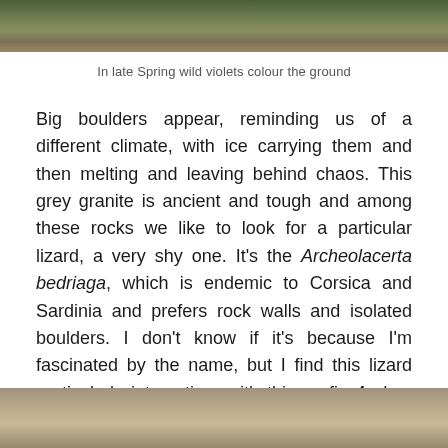[Figure (photo): Top portion of a nature photo showing green plants and rocks, cropped at the top of the page]
In late Spring wild violets colour the ground
Big boulders appear, reminding us of a different climate, with ice carrying them and then melting and leaving behind chaos. This grey granite is ancient and tough and among these rocks we like to look for a particular lizard, a very shy one. It's the Archeolacerta bedriaga, which is endemic to Corsica and Sardinia and prefers rock walls and isolated boulders. I don't know if it's because I'm fascinated by the name, but I find this lizard particularly interesting, with this prefix Archeo that makes me think about something ancient. I like its brown skin with its snout with evident scales. I think it goes perfectly with this setting of granite.
[Figure (photo): Bottom portion of a nature photo showing rocks and ground, cropped at the bottom of the page]